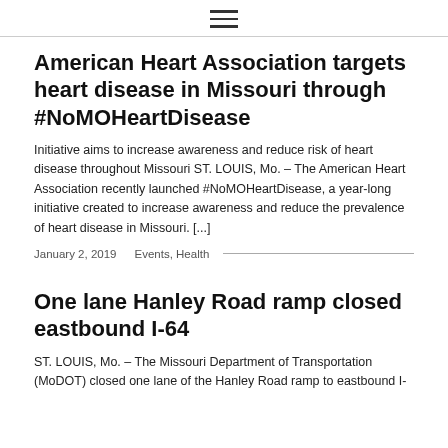☰
American Heart Association targets heart disease in Missouri through #NoMOHeartDisease
Initiative aims to increase awareness and reduce risk of heart disease throughout Missouri ST. LOUIS, Mo. – The American Heart Association recently launched #NoMOHeartDisease, a year-long initiative created to increase awareness and reduce the prevalence of heart disease in Missouri. [...]
January 2, 2019   Events, Health
One lane Hanley Road ramp closed eastbound I-64
ST. LOUIS, Mo. – The Missouri Department of Transportation (MoDOT) closed one lane of the Hanley Road ramp to eastbound I-